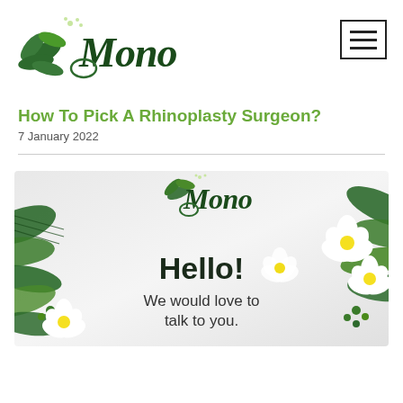Mono (logo)
How To Pick A Rhinoplasty Surgeon?
7 January 2022
[Figure (illustration): Mono brand card with tropical leaf decorations, logo, 'Hello! We would love to talk to you.' text, and white/yellow plumeria flowers on a light grey background.]